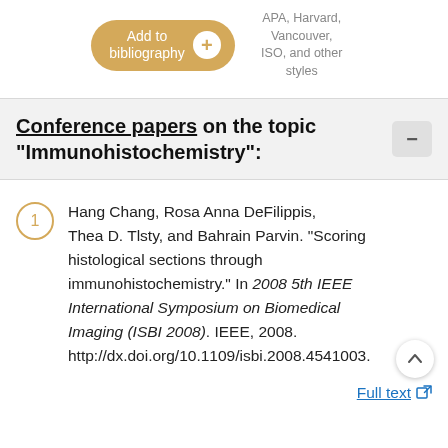[Figure (other): Add to bibliography button with plus circle icon and text 'APA, Harvard, Vancouver, ISO, and other styles']
Conference papers on the topic "Immunohistochemistry":
1. Hang Chang, Rosa Anna DeFilippis, Thea D. Tlsty, and Bahrain Parvin. "Scoring histological sections through immunohistochemistry." In 2008 5th IEEE International Symposium on Biomedical Imaging (ISBI 2008). IEEE, 2008. http://dx.doi.org/10.1109/isbi.2008.4541003.
Full text